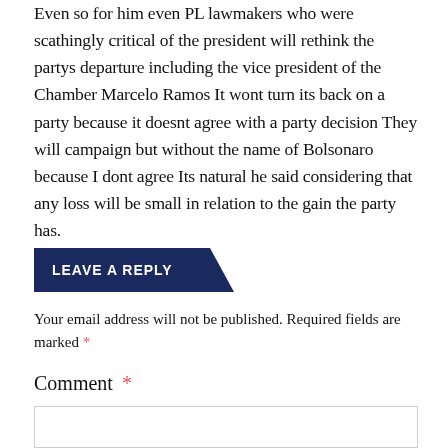Even so for him even PL lawmakers who were scathingly critical of the president will rethink the partys departure including the vice president of the Chamber Marcelo Ramos It wont turn its back on a party because it doesnt agree with a party decision They will campaign but without the name of Bolsonaro because I dont agree Its natural he said considering that any loss will be small in relation to the gain the party has.
LEAVE A REPLY
Your email address will not be published. Required fields are marked *
Comment *